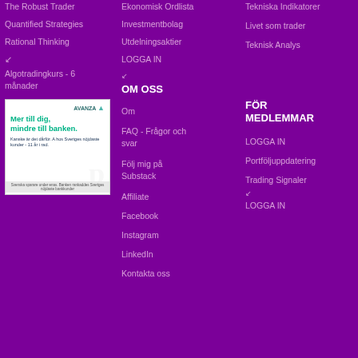The Robust Trader
Quantified Strategies
Rational Thinking
Algotradingkurs - 6 månader
Ekonomisk Ordlista
Investmentbolag
Utdelningsaktier
LOGGA IN
Tekniska Indikatorer
Livet som trader
Teknisk Analys
[Figure (illustration): Advertisement banner for Avanza bank: green text 'Mer till dig, mindre till banken.' on white background with teal logo and ghosted 'p' watermark]
OM OSS
Om
FAQ - Frågor och svar
Följ mig på Substack
Affiliate
Facebook
Instagram
LinkedIn
Kontakta oss
FÖR MEDLEMMAR
LOGGA IN
Portföljuppdatering
Trading Signaler
LOGGA IN